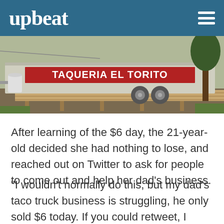upbeat
[Figure (photo): A food truck trailer with 'TAQUERIA EL TORITO' sign in red and white, parked on wooden pallets outdoors near a tree.]
After learning of the $6 day, the 21-year-old decided she had nothing to lose, and reached out on Twitter to ask for people to come out and help her dad's business.
"I wouldn't normally do this, but my dad's taco truck business is struggling, he only sold $6 today. If you could retweet, I would